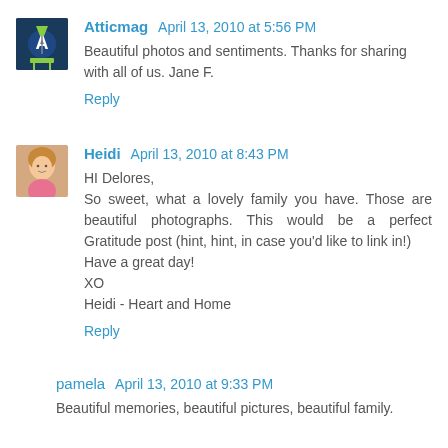Atticmag April 13, 2010 at 5:56 PM
Beautiful photos and sentiments. Thanks for sharing with all of us. Jane F.
Reply
Heidi April 13, 2010 at 8:43 PM
HI Delores,
So sweet, what a lovely family you have. Those are beautiful photographs. This would be a perfect Gratitude post (hint, hint, in case you'd like to link in!)
Have a great day!
XO
Heidi - Heart and Home
Reply
pamela April 13, 2010 at 9:33 PM
Beautiful memories, beautiful pictures, beautiful family.